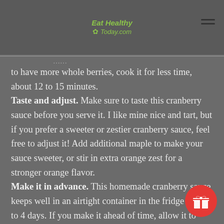Eat Healthy Today.com
to have more whole berries, cook it for less time, about 12 to 15 minutes.
Taste and adjust. Make sure to taste this cranberry sauce before you serve it. I like mine nice and tart, but if you prefer a sweeter or zestier cranberry sauce, feel free to adjust it! Add additional maple to make your sauce sweeter, or stir in extra orange zest for a stronger orange flavor.
Make it in advance. This homemade cranberry sauce keeps well in an airtight container in the fridge for up to 4 days. If you make it ahead of time, allow it to come to room temperature before serving.
Save the leftovers! Have a little sauce leftover from a holiday feast? Don't let it go to waste! Think of the leftover sauce as a thick, tart jam. Dot it onto oatmeal or